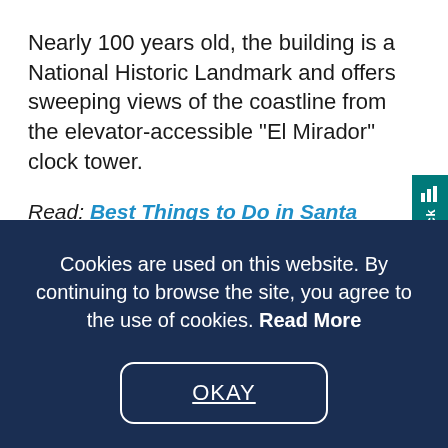Nearly 100 years old, the building is a National Historic Landmark and offers sweeping views of the coastline from the elevator-accessible “El Mirador” clock tower.
Read: Best Things to Do in Santa Barbara With Kids
Alcatraz, San
Cookies are used on this website. By continuing to browse the site, you agree to the use of cookies. Read More
OKAY